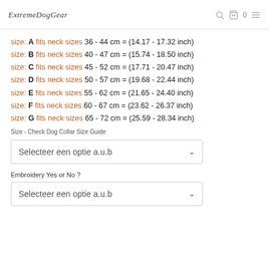ExtremeDogGear [logo]
size: A fits neck sizes 36 - 44 cm = (14.17 - 17.32 inch)
size: B fits neck sizes 40 - 47 cm = (15.74 - 18.50 inch)
size: C fits neck sizes 45 - 52 cm = (17.71 - 20.47 inch)
size: D fits neck sizes 50 - 57 cm = (19.68 - 22.44 inch)
size: E fits neck sizes 55 - 62 cm = (21.65 - 24.40 inch)
size: F fits neck sizes 60 - 67 cm = (23.62 - 26.37 inch)
size: G fits neck sizes 65 - 72 cm = (25.59 - 28.34 inch)
Size - Check Dog Collar Size Guide
Selecteer een optie a.u.b
Embroidery Yes or No ?
Selecteer een optie a.u.b